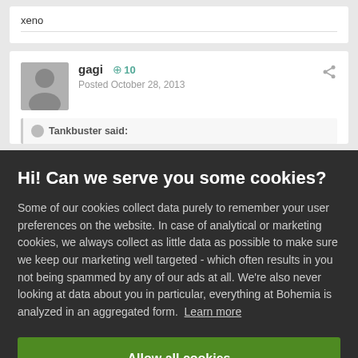xeno
gagi  +10  Posted October 28, 2013
Tankbuster said:
Hi! Can we serve you some cookies?
Some of our cookies collect data purely to remember your user preferences on the website. In case of analytical or marketing cookies, we always collect as little data as possible to make sure we keep our marketing well targeted - which often results in you not being spammed by any of our ads at all. We're also never looking at data about you in particular, everything at Bohemia is analyzed in an aggregated form. Learn more
Allow all cookies
I want more options